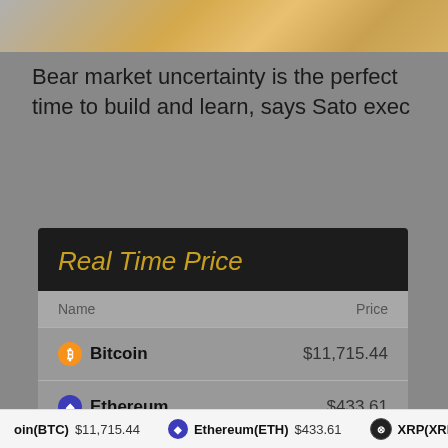[Figure (illustration): Colorful gradient banner image at top of page]
Bear market uncertainty is the perfect time to build and learn, says Sato exec
| Name | Price |
| --- | --- |
| Bitcoin | $11,715.44 |
| Ethereum | $433.61 |
| XRP | $0.280312 |
oin(BTC) $11,715.44   Ethereum(ETH) $433.61   XRP(XRP) $